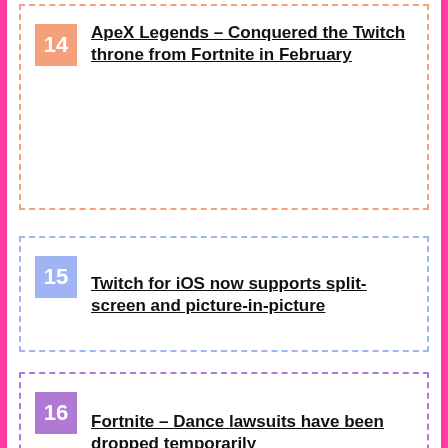14 ApeX Legends – Conquered the Twitch throne from Fortnite in February
15 Twitch for iOS now supports split-screen and picture-in-picture
16 Fortnite – Dance lawsuits have been dropped temporarily
17 How to deactivate Twitch Prime
18 Fortnite: Marshmello gets its own